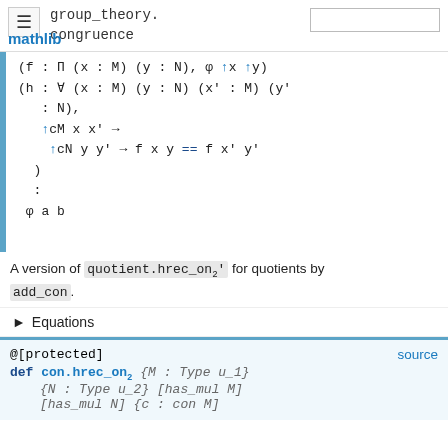group_theory.congruence — mathlib
A version of quotient.hrec_on₂' for quotients by add_con.
▶ Equations